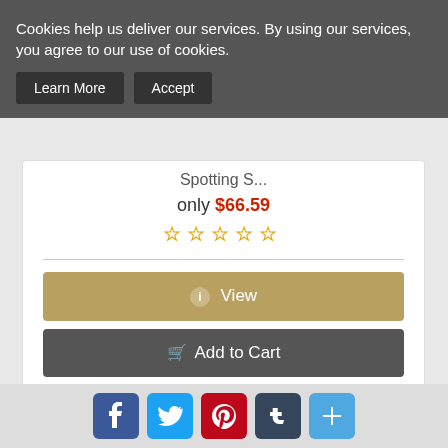Cookies help us deliver our services. By using our services, you agree to our use of cookies.
Learn More | Accept
Spotting S...
only $66.59
[Figure (other): Five empty star rating icons in gold/yellow outline]
View
Add to Cart
[Figure (photo): Front view of a gun sight/rear sight with green fiber optic dot on top, black metal housing]
[Figure (other): Social media share buttons: Facebook, Twitter, Pinterest, Tumblr, and a plus/more button]